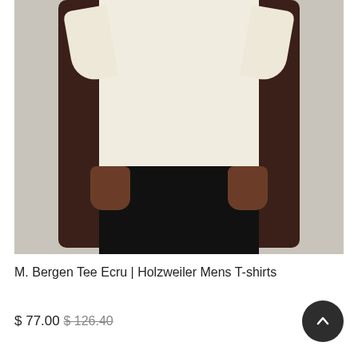[Figure (photo): A man wearing a cream/ecru colored t-shirt and black pants, shown from neck to thighs, hands at sides, against a light gray background.]
M. Bergen Tee Ecru | Holzweiler Mens T-shirts
$ 77.00  $126.40